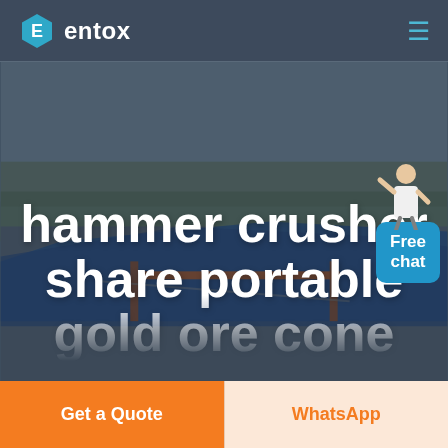[Figure (logo): Entox company logo with hexagonal E icon and text 'entox' in white]
[Figure (screenshot): Website screenshot showing aerial industrial landscape hero image with hammer crusher product page]
[Figure (illustration): Free chat widget with figure of person and blue bubble reading 'Free chat']
hammer crusher share portable gold ore cone
Get a Quote
WhatsApp